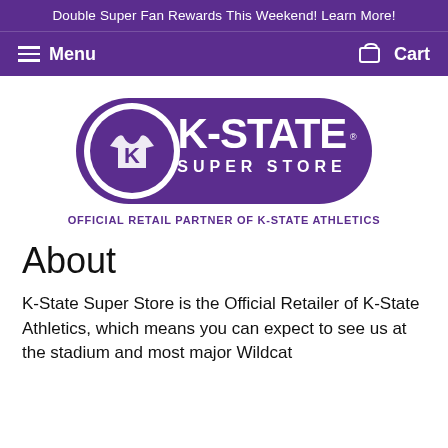Double Super Fan Rewards This Weekend! Learn More!
Menu   Cart
[Figure (logo): K-State Super Store logo — purple rounded rectangle with a circle containing a K-State Wildcat mascot on a purple t-shirt on the left, and bold white text reading K-STATE SUPER STORE on the right]
OFFICIAL RETAIL PARTNER OF K-STATE ATHLETICS
About
K-State Super Store is the Official Retailer of K-State Athletics, which means you can expect to see us at the stadium and most major Wildcat